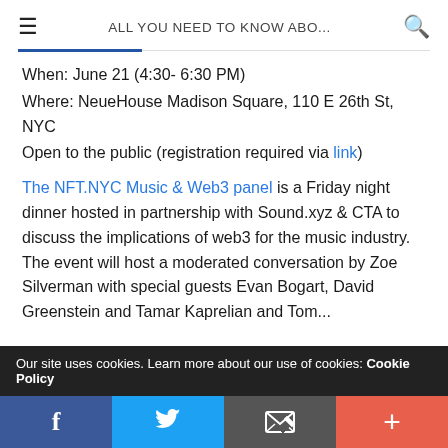ALL YOU NEED TO KNOW ABO...
When: June 21 (4:30- 6:30 PM)
Where: NeueHouse Madison Square, 110 E 26th St, NYC
Open to the public (registration required via link)
The NFT.NYC Music & Web3 panel is a Friday night dinner hosted in partnership with Sound.xyz & CTA to discuss the implications of web3 for the music industry. The event will host a moderated conversation by Zoe Silverman with special guests Evan Bogart, David Greenstein and Tamar Kaprelian and Tom...
Our site uses cookies. Learn more about our use of cookies: Cookie Policy